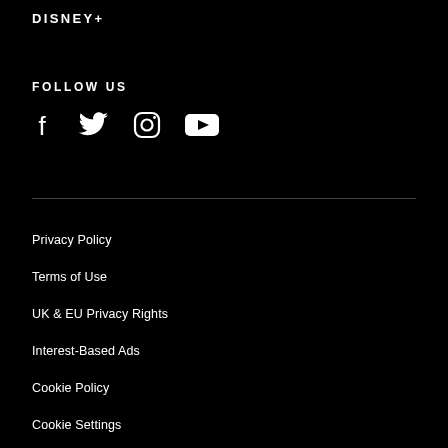DISNEY+
FOLLOW US
[Figure (illustration): Social media icons: Facebook, Twitter, Instagram, YouTube]
Privacy Policy
Terms of Use
UK & EU Privacy Rights
Interest-Based Ads
Cookie Policy
Cookie Settings